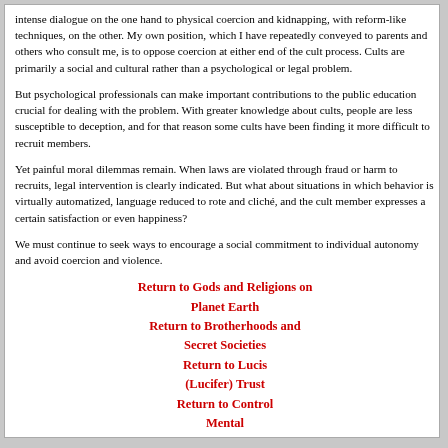intense dialogue on the one hand to physical coercion and kidnapping, with reform-like techniques, on the other. My own position, which I have repeatedly conveyed to parents and others who consult me, is to oppose coercion at either end of the cult process. Cults are primarily a social and cultural rather than a psychological or legal problem.
But psychological professionals can make important contributions to the public education crucial for dealing with the problem. With greater knowledge about cults, people are less susceptible to deception, and for that reason some cults have been finding it more difficult to recruit members.
Yet painful moral dilemmas remain. When laws are violated through fraud or harm to recruits, legal intervention is clearly indicated. But what about situations in which behavior is virtually automatized, language reduced to rote and cliché, and the cult member expresses a certain satisfaction or even happiness?
We must continue to seek ways to encourage a social commitment to individual autonomy and avoid coercion and violence.
Return to Gods and Religions on Planet Earth
Return to Brotherhoods and Secret Societies
Return to Lucis (Lucifer) Trust
Return to Control Mental